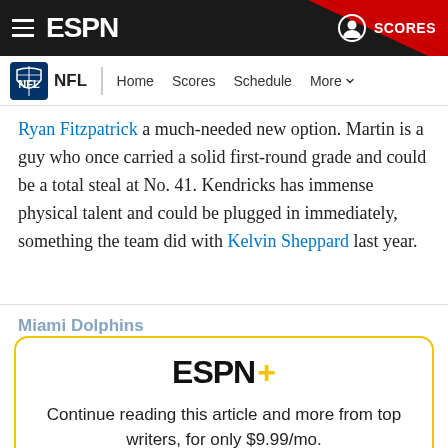ESPN — NFL Navigation: Home, Scores, Schedule, More
Ryan Fitzpatrick a much-needed new option. Martin is a guy who once carried a solid first-round grade and could be a total steal at No. 41. Kendricks has immense physical talent and could be plugged in immediately, something the team did with Kelvin Sheppard last year.
Miami Dolphins
[Figure (logo): ESPN+ logo with gold plus sign, paywall subscription prompt reading: Continue reading this article and more from top writers, for only $9.99/mo.]